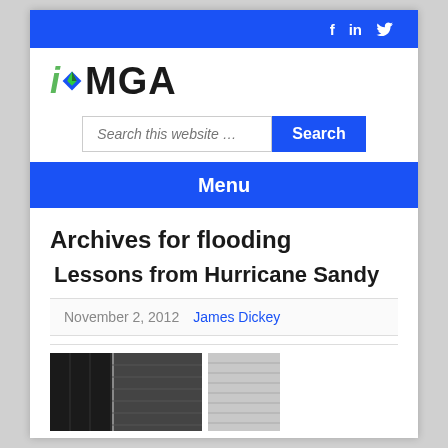iOMGA — social icons: f, in, twitter
[Figure (logo): iOMGA logo with green i, blue diamond, and dark MGA text]
Search this website …
Menu
Archives for flooding
Lessons from Hurricane Sandy
November 2, 2012   James Dickey
[Figure (photo): Two partially visible photos of flood damage / building exteriors at the bottom of the page]